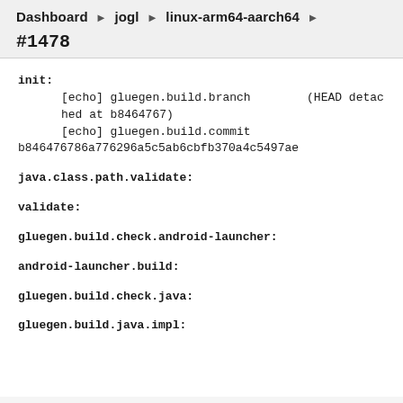Dashboard ▶ jogl ▶ linux-arm64-aarch64 ▶
#1478
init:
        [echo] gluegen.build.branch        (HEAD detached at b8464767)
        [echo] gluegen.build.commit        b846476786a776296a5c5ab6cbfb370a4c5497ae
java.class.path.validate:
validate:
gluegen.build.check.android-launcher:
android-launcher.build:
gluegen.build.check.java:
gluegen.build.java.impl: